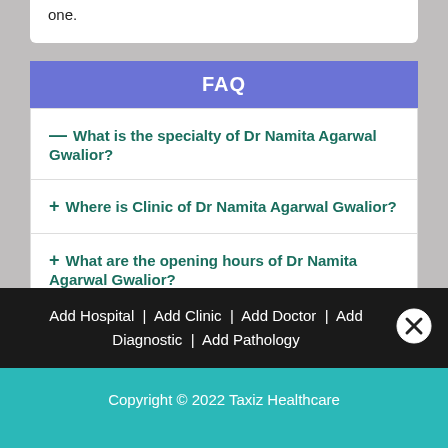one.
FAQ
— What is the specialty of Dr Namita Agarwal Gwalior?
+ Where is Clinic of Dr Namita Agarwal Gwalior?
+ What are the opening hours of Dr Namita Agarwal Gwalior?
Add Hospital   Add Clinic   Add Doctor   Add Diagnostic   Add Pathology
Copyright © 2022 Taxiz Healthcare